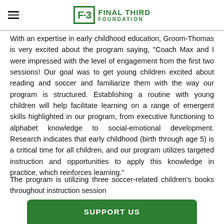Final Third Foundation
With an expertise in early childhood education, Groom-Thomas is very excited about the program saying, “Coach Max and I were impressed with the level of engagement from the first two sessions! Our goal was to get young children excited about reading and soccer and familiarize them with the way our program is structured. Establishing a routine with young children will help facilitate learning on a range of emergent skills highlighted in our program, from executive functioning to alphabet knowledge to social-emotional development. Research indicates that early childhood (birth through age 5) is a critical time for all children, and our program utilizes targeted instruction and opportunities to apply this knowledge in practice, which reinforces learning.”
The program is utilizing three soccer-related children’s books throughout instruction session